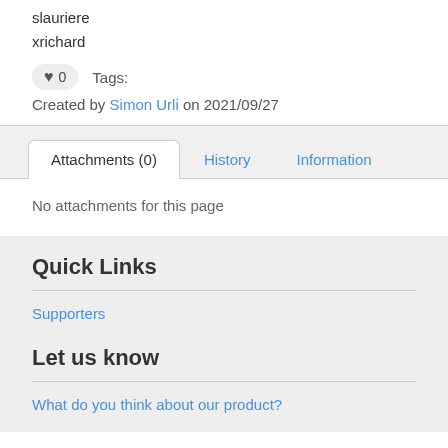slauriere
xrichard
♥ 0    Tags:
Created by Simon Urli on 2021/09/27
Attachments (0)
History
Information
No attachments for this page
Quick Links
Supporters
Let us know
What do you think about our product?